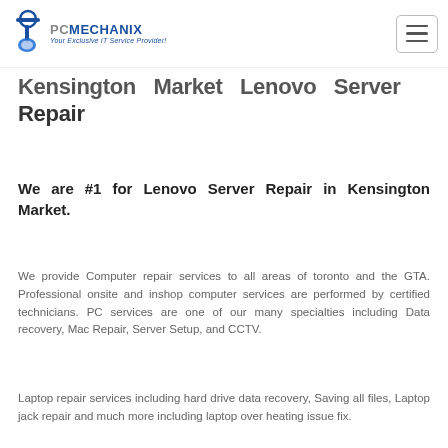PC Mechanix - Your Exclusive IT Service Provider!
Kensington Market Lenovo Server Repair
We are #1 for Lenovo Server Repair in Kensington Market.
We provide Computer repair services to all areas of toronto and the GTA. Professional onsite and inshop computer services are performed by certified technicians. PC services are one of our many specialties including Data recovery, Mac Repair, Server Setup, and CCTV.
Laptop repair services including hard drive data recovery, Saving all files, Laptop jack repair and much more including laptop over heating issue fix.